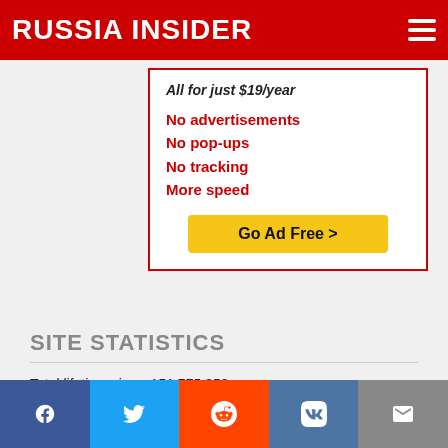RUSSIA INSIDER
All for just $19/year
No advertisements
No pop-ups
No tracking
More speed
Go Ad Free >
SITE STATISTICS
Total lifetime views 151 775 358
Founded September 2014